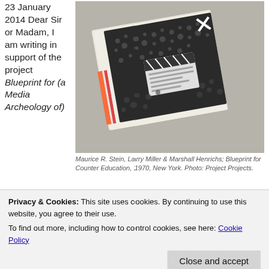23 January 2014 Dear Sir or Madam, I am writing in support of the project Blueprint for (a Media Archeology of)
[Figure (photo): A stack of books/publications fanned out, showing a black and white cover with many faces and a clapperboard graphic. The book is 'Blueprint for Counter Education' by Maurice R. Stein, Larry Miller & Marshall Henrichs, 1970, New York.]
Maurice R. Stein, Larry Miller & Marshall Henrichs; Blueprint for Counter Education, 1970, New York. Photo: Project Projects.
Privacy & Cookies: This site uses cookies. By continuing to use this website, you agree to their use.
To find out more, including how to control cookies, see here: Cookie Policy
Close and accept
natural successor to Schnapp and Michaels triumphant The